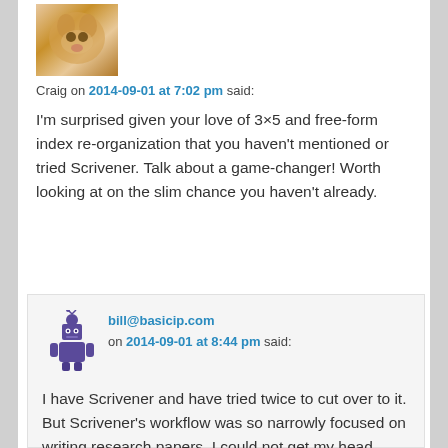[Figure (photo): Cat avatar photo showing a beige/orange cat face close-up]
Craig on 2014-09-01 at 7:02 pm said:
I'm surprised given your love of 3×5 and free-form index re-organization that you haven't mentioned or tried Scrivener. Talk about a game-changer! Worth looking at on the slim chance you haven't already.
[Figure (illustration): Purple robot avatar icon]
bill@basicip.com on 2014-09-01 at 8:44 pm said:
I have Scrivener and have tried twice to cut over to it. But Scrivener's workflow was so narrowly focused on writing research papers, I could not get my head around using in in a way like Evernote for reference filing. Also, Scrivener like all the other programs that do electronic cards I've seen to date, rigidly locks cards into